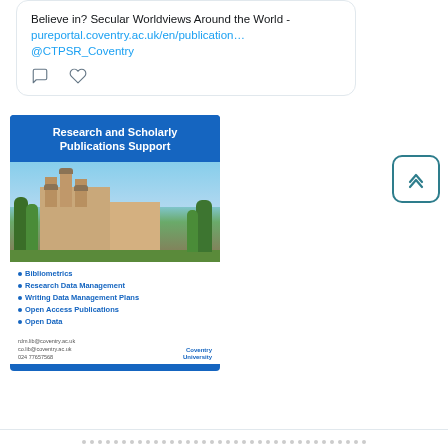Believe in? Secular Worldviews Around the World - pureportal.coventry.ac.uk/en/publication… @CTPSR_Coventry
[Figure (screenshot): Advertisement for Coventry University Research and Scholarly Publications Support service, showing university building photo and list of services including Bibliometrics, Research Data Management, Writing Data Management Plans, Open Access Publications, Open Data]